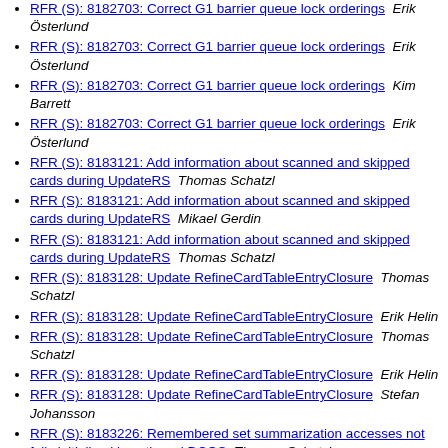RFR (S): 8182703: Correct G1 barrier queue lock orderings  Erik Österlund
RFR (S): 8182703: Correct G1 barrier queue lock orderings  Erik Österlund
RFR (S): 8182703: Correct G1 barrier queue lock orderings  Kim Barrett
RFR (S): 8182703: Correct G1 barrier queue lock orderings  Erik Österlund
RFR (S): 8183121: Add information about scanned and skipped cards during UpdateRS  Thomas Schatzl
RFR (S): 8183121: Add information about scanned and skipped cards during UpdateRS  Mikael Gerdin
RFR (S): 8183121: Add information about scanned and skipped cards during UpdateRS  Thomas Schatzl
RFR (S): 8183128: Update RefineCardTableEntryClosure  Thomas Schatzl
RFR (S): 8183128: Update RefineCardTableEntryClosure  Erik Helin
RFR (S): 8183128: Update RefineCardTableEntryClosure  Thomas Schatzl
RFR (S): 8183128: Update RefineCardTableEntryClosure  Erik Helin
RFR (S): 8183128: Update RefineCardTableEntryClosure  Stefan Johansson
RFR (S): 8183226: Remembered set summarization accesses not fully initialized java thread DCOS  Thomas Schatzl